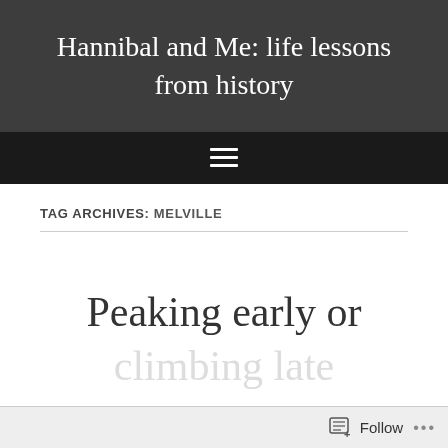Hannibal and Me: life lessons from history
TAG ARCHIVES: MELVILLE
Peaking early or